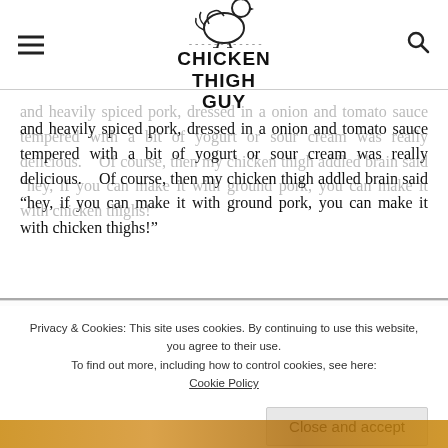CHICKEN THIGH GUY
and heavily spiced pork, dressed in a onion and tomato sauce tempered with a bit of yogurt or sour cream was really delicious.    Of course, then my chicken thigh addled brain said “hey, if you can make it with ground pork, you can make it with chicken thighs!”
Privacy & Cookies: This site uses cookies. By continuing to use this website, you agree to their use. To find out more, including how to control cookies, see here: Cookie Policy
[Figure (photo): Food photo partially visible at the bottom of the page, showing what appears to be a chicken dish]